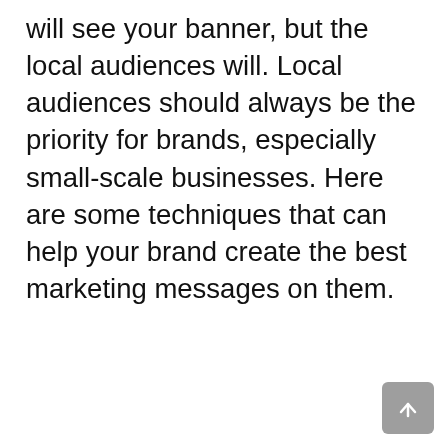will see your banner, but the local audiences will. Local audiences should always be the priority for brands, especially small-scale businesses. Here are some techniques that can help your brand create the best marketing messages on them.
What a Good Banner Ad Looks Like
[Figure (other): Share button icon — a rounded square button with a share/network icon]
[Figure (other): Back to top button — a rounded square grey button with an upward arrow icon]